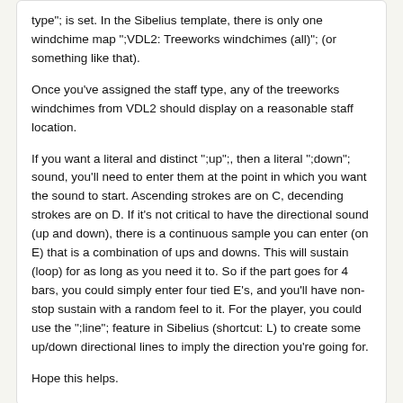type"; is set. In the Sibelius template, there is only one windchime map ";VDL2: Treeworks windchimes (all)"; (or something like that).
Once you've assigned the staff type, any of the treeworks windchimes from VDL2 should display on a reasonable staff location.
If you want a literal and distinct ";up";, then a literal ";down"; sound, you'll need to enter them at the point in which you want the sound to start. Ascending strokes are on C, decending strokes are on D. If it's not critical to have the directional sound (up and down), there is a continuous sample you can enter (on E) that is a combination of ups and downs. This will sustain (loop) for as long as you need it to. So if the part goes for 4 bars, you could simply enter four tied E's, and you'll have non-stop sustain with a random feel to it. For the player, you could use the ";line"; feature in Sibelius (shortcut: L) to create some up/down directional lines to imply the direction you're going for.
Hope this helps.
Login or Signup to post a comment